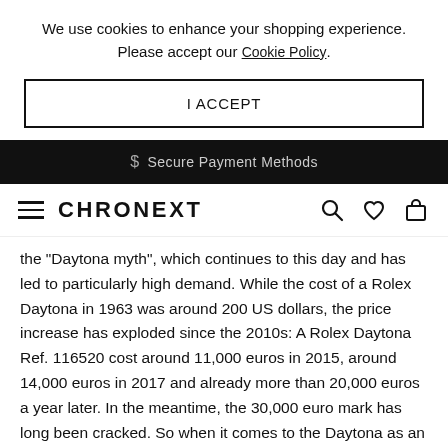We use cookies to enhance your shopping experience. Please accept our Cookie Policy.
I ACCEPT
$ Secure Payment Methods
CHRONEXT
the "Daytona myth", which continues to this day and has led to particularly high demand. While the cost of a Rolex Daytona in 1963 was around 200 US dollars, the price increase has exploded since the 2010s: A Rolex Daytona Ref. 116520 cost around 11,000 euros in 2015, around 14,000 euros in 2017 and already more than 20,000 euros a year later. In the meantime, the 30,000 euro mark has long been cracked. So when it comes to the Daytona as an investment, it pays to get